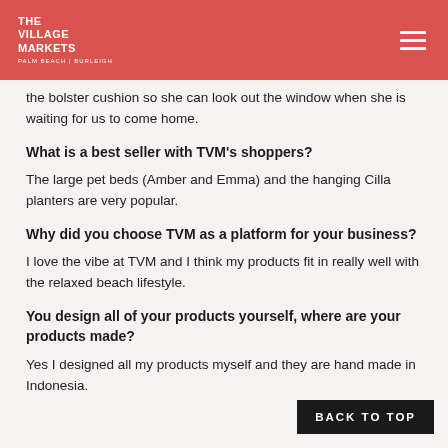THE VILLAGE MARKETS
the bolster cushion so she can look out the window when she is waiting for us to come home.
What is a best seller with TVM's shoppers?
The large pet beds (Amber and Emma) and the hanging Cilla planters are very popular.
Why did you choose TVM as a platform for your business?
I love the vibe at TVM and I think my products fit in really well with the relaxed beach lifestyle.
You design all of your products yourself, where are your products made?
Yes I designed all my products myself and they are hand made in Indonesia.